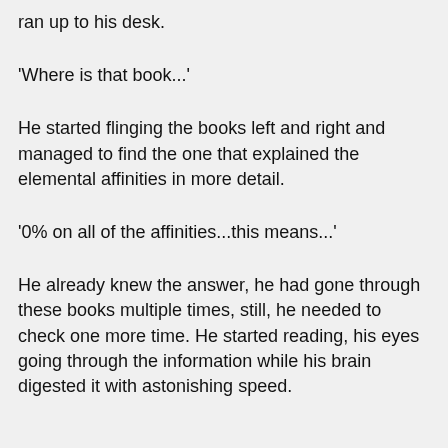ran up to his desk.
'Where is that book...'
He started flinging the books left and right and managed to find the one that explained the elemental affinities in more detail.
'0% on all of the affinities...this means...'
He already knew the answer, he had gone through these books multiple times, still, he needed to check one more time. He started reading, his eyes going through the information while his brain digested it with astonishing speed.